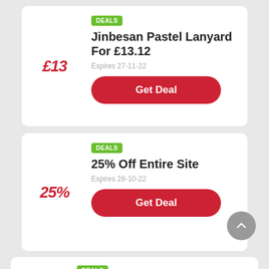DEALS
Jinbesan Pastel Lanyard For £13.12
£13
Expires 27-11-22
Get Deal
DEALS
25% Off Entire Site
25%
Expires 28-10-22
Get Deal
DEALS
An Extra 50% Off